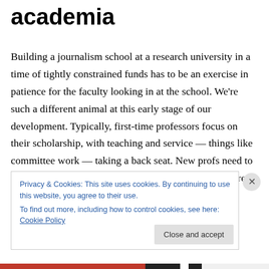academia
Building a journalism school at a research university in a time of tightly constrained funds has to be an exercise in patience for the faculty looking in at the school. We're such a different animal at this early stage of our development. Typically, first-time professors focus on their scholarship, with teaching and service — things like committee work — taking a back seat. New profs need to prove their intellectual chops, need to establish their cred at conferences and symposia, need to be published in
Privacy & Cookies: This site uses cookies. By continuing to use this website, you agree to their use.
To find out more, including how to control cookies, see here: Cookie Policy
Close and accept